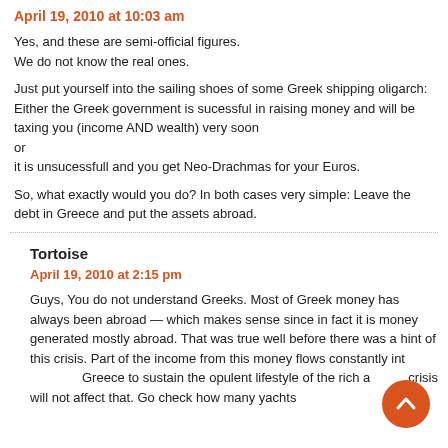April 19, 2010 at 10:03 am
Yes, and these are semi-official figures. We do not know the real ones.
Just put yourself into the sailing shoes of some Greek shipping oligarch: Either the Greek government is sucessful in raising money and will be taxing you (income AND wealth) very soon
or
it is unsucessfull and you get Neo-Drachmas for your Euros.
So, what exactly would you do? In both cases very simple: Leave the debt in Greece and put the assets abroad.
Tortoise
April 19, 2010 at 2:15 pm
Guys, You do not understand Greeks. Most of Greek money has always been abroad — which makes sense since in fact it is money generated mostly abroad. That was true well before there was a hint of this crisis. Part of the income from this money flows constantly into Greece to sustain the opulent lifestyle of the rich and crisis will not affect that. Go check how many yachts